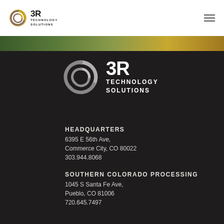3R Technology Solutions
[Figure (logo): 3R Technology Solutions logo with circular icon in white, large format on dark background]
HEADQUARTERS
6395 E 56th Ave,
Commerce City, CO 80022
303.944.8068
SOUTHERN COLORADO PROCESSING
1045 S Santa Fe Ave,
Pueblo, CO 81006
720.645.7497